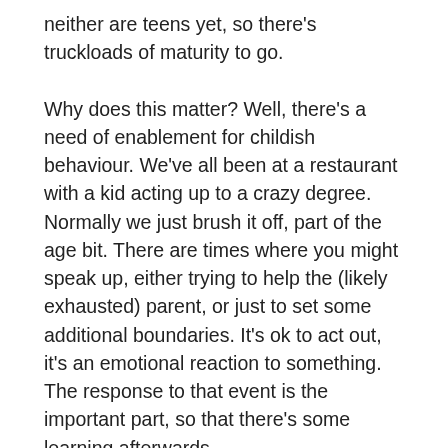neither are teens yet, so there's truckloads of maturity to go.
Why does this matter? Well, there's a need of enablement for childish behaviour. We've all been at a restaurant with a kid acting up to a crazy degree. Normally we just brush it off, part of the age bit. There are times where you might speak up, either trying to help the (likely exhausted) parent, or just to set some additional boundaries. It's ok to act out, it's an emotional reaction to something. The response to that event is the important part, so that there's some learning afterwards.
Where the wheels of the bus fall off is when adults are doing this, and the adults in charge encourage that behaviour, encourage the same thing...